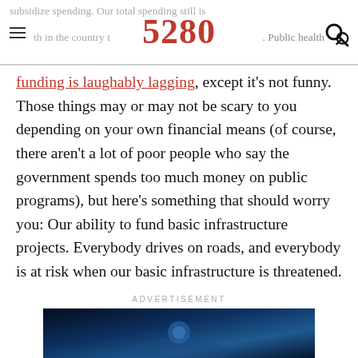5280
funding is laughably lagging, except it's not funny. Those things may or may not be scary to you depending on your own financial means (of course, there aren't a lot of poor people who say the government spends too much money on public programs), but here's something that should worry you: Our ability to fund basic infrastructure projects. Everybody drives on roads, and everybody is at risk when our basic infrastructure is threatened.
ADVERTISEMENT
[Figure (photo): Advertisement image with dark blue background]